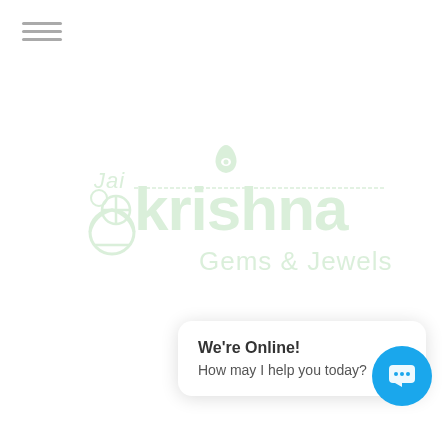[Figure (logo): Jai Shri Krishna Gems & Jewels logo in light green, watermark style]
We're Online!
How may I help you today?